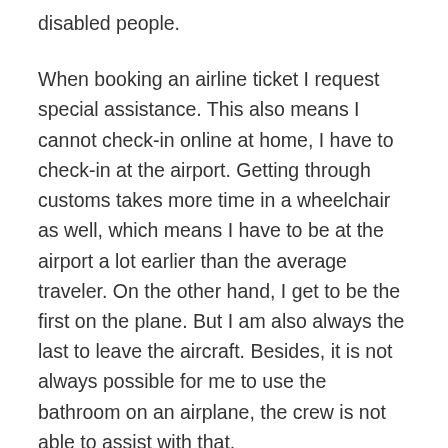disabled people.
When booking an airline ticket I request special assistance. This also means I cannot check-in online at home, I have to check-in at the airport. Getting through customs takes more time in a wheelchair as well, which means I have to be at the airport a lot earlier than the average traveler. On the other hand, I get to be the first on the plane. But I am also always the last to leave the aircraft. Besides, it is not always possible for me to use the bathroom on an airplane, the crew is not able to assist with that.
Obstacles that I encounter when I travel with my wheelchair are often things like sidewalks and roads with big holes, high pavement, steps, narrow entrances, etc. I also experience that people are often